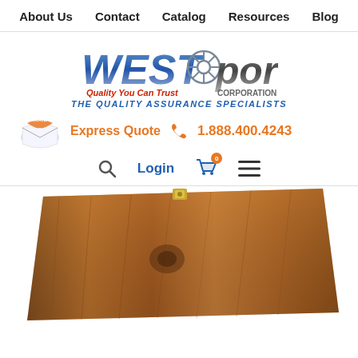About Us  Contact  Catalog  Resources  Blog
[Figure (logo): WESTport Corporation logo with tagline 'Quality You Can Trust' in red and 'CORPORATION' in gray, with a gear/wheel icon]
THE QUALITY ASSURANCE SPECIALISTS
Express Quote  1.888.400.4243
Login
[Figure (photo): Close-up photo of a wooden surface, appears to be a wooden box or panel with a brass latch/hinge, warm brown wood tones]